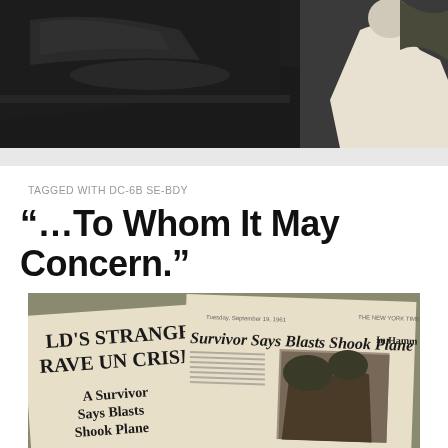[Figure (photo): Black and white photograph of a person near a car, partially visible at top of page]
TAGGED WITH DC-6B SE-BDY
“…To Whom It May Concern.”
[Figure (photo): Photograph of newspaper clippings spread on a surface, with headlines reading 'LD'S STRANGE RAVE UN CRISIS', 'A Survivor Says Blasts Shook Plane', and 'Survivor Says Blasts Shook Plane', dated Tuesday September 19, 1961]